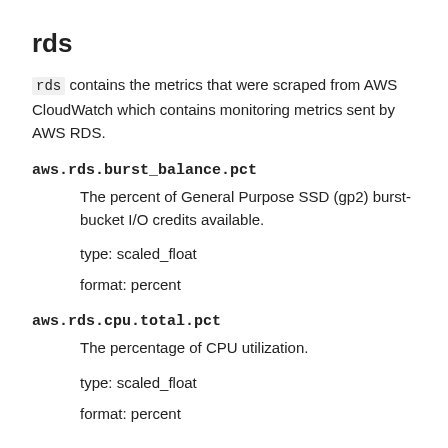rds
rds contains the metrics that were scraped from AWS CloudWatch which contains monitoring metrics sent by AWS RDS.
aws.rds.burst_balance.pct
The percent of General Purpose SSD (gp2) burst-bucket I/O credits available.
type: scaled_float
format: percent
aws.rds.cpu.total.pct
The percentage of CPU utilization.
type: scaled_float
format: percent